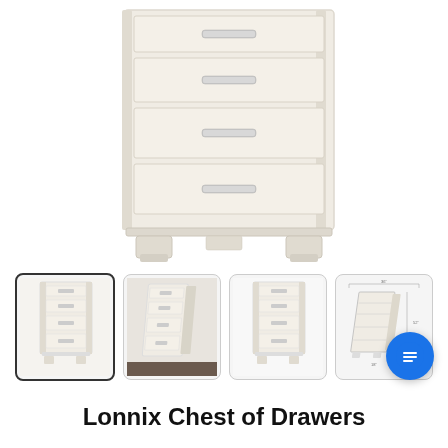[Figure (photo): Main product image of a white/cream Lonnix Chest of Drawers with 5 drawers, silver bar handles, and tapered feet on a white background.]
[Figure (photo): Thumbnail 1 (selected/active): Front view of Lonnix Chest of Drawers, white finish, 5 drawers with silver handles.]
[Figure (photo): Thumbnail 2: Angled side view of Lonnix Chest of Drawers on dark floor.]
[Figure (photo): Thumbnail 3: Straight front view of Lonnix Chest of Drawers, white background.]
[Figure (schematic): Thumbnail 4: Dimension diagram/schematic of Lonnix Chest of Drawers showing measurements.]
Lonnix Chest of Drawers